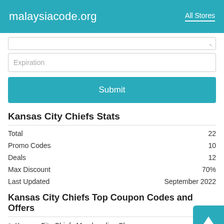malaysiacode.org   All Stores
Expiration
Submit
Kansas City Chiefs Stats
|  |  |
| --- | --- |
| Total | 22 |
| Promo Codes | 10 |
| Deals | 12 |
| Max Discount | 70% |
| Last Updated | September 2022 |
Kansas City Chiefs Top Coupon Codes and Offers
Kansas City Chiefs Merchandise Clearance